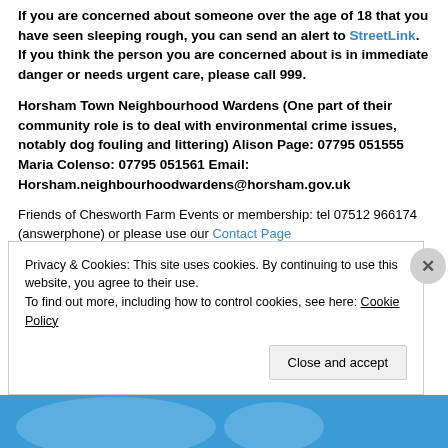If you are concerned about someone over the age of 18 that you have seen sleeping rough, you can send an alert to StreetLink. If you think the person you are concerned about is in immediate danger or needs urgent care, please call 999.
Horsham Town Neighbourhood Wardens (One part of their community role is to deal with environmental crime issues, notably dog fouling and littering) Alison Page: 07795 051555 Maria Colenso: 07795 051561 Email: Horsham.neighbourhoodwardens@horsham.gov.uk
Friends of Chesworth Farm Events or membership: tel 07512 966174 (answerphone) or please use our Contact Page
Privacy & Cookies: This site uses cookies. By continuing to use this website, you agree to their use.
To find out more, including how to control cookies, see here: Cookie Policy